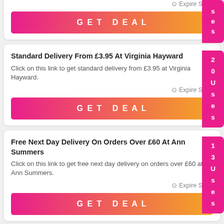Expire Soon
GET DEAL
s e s
Standard Delivery From £3.95 At Virginia Hayward
Click on this link to get standard delivery from £3.95 at Virginia Hayward.
Expire Soon
GET DEAL
20 Uses
Free Next Day Delivery On Orders Over £60 At Ann Summers
Click on this link to get free next day delivery on orders over £60 at Ann Summers.
Expire Soon
GET DEAL
13 Uses